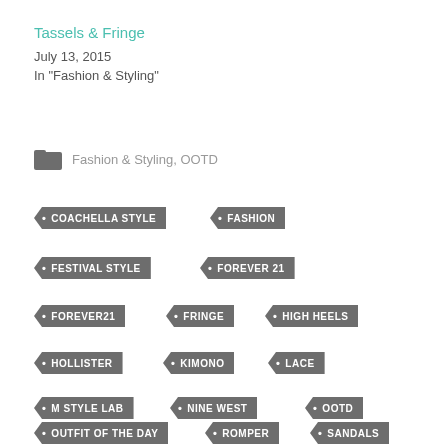Tassels & Fringe
July 13, 2015
In "Fashion & Styling"
Fashion & Styling, OOTD
COACHELLA STYLE
FASHION
FESTIVAL STYLE
FOREVER 21
FOREVER21
FRINGE
HIGH HEELS
HOLLISTER
KIMONO
LACE
M STYLE LAB
NINE WEST
OOTD
OUTFIT OF THE DAY
ROMPER
SANDALS